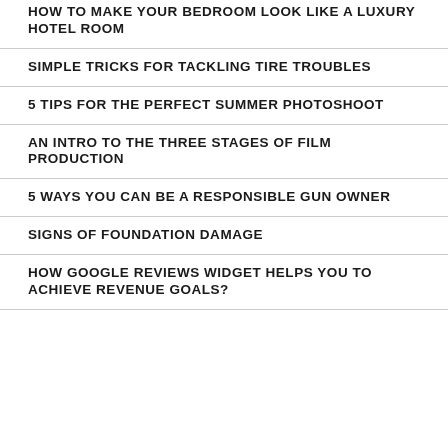HOW TO MAKE YOUR BEDROOM LOOK LIKE A LUXURY HOTEL ROOM
SIMPLE TRICKS FOR TACKLING TIRE TROUBLES
5 TIPS FOR THE PERFECT SUMMER PHOTOSHOOT
AN INTRO TO THE THREE STAGES OF FILM PRODUCTION
5 WAYS YOU CAN BE A RESPONSIBLE GUN OWNER
SIGNS OF FOUNDATION DAMAGE
HOW GOOGLE REVIEWS WIDGET HELPS YOU TO ACHIEVE REVENUE GOALS?